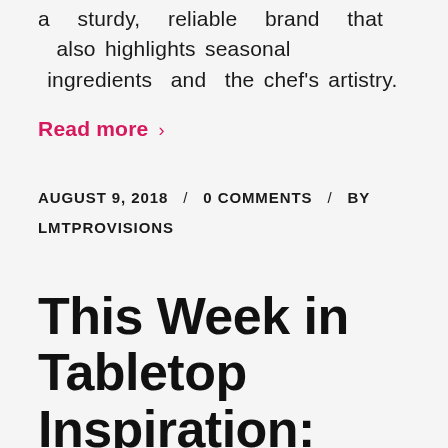a sturdy, reliable brand that also highlights seasonal ingredients and the chef's artistry.
Read more ›
AUGUST 9, 2018 / 0 COMMENTS / BY LMTPROVISIONS
This Week in Tabletop Inspiration: We'll Have The Usual